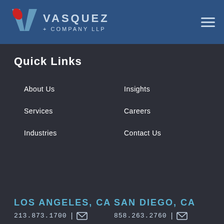[Figure (logo): Vasquez + Company LLP logo with V checkmark in blue and red, white text on dark blue header]
Quick Links
About Us
Insights
Services
Careers
Industries
Contact Us
LOS ANGELES, CA
SAN DIEGO, CA
213.873.1700  |  [email icon]
858.263.2760  |  [email icon]